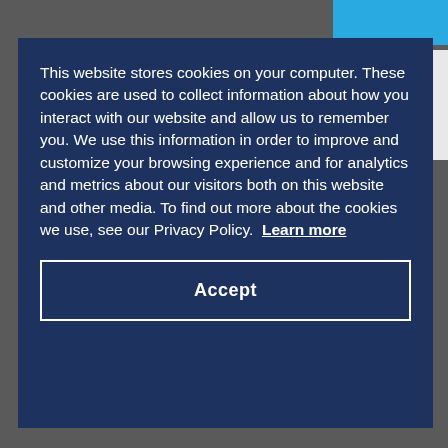[Figure (screenshot): Website screenshot background showing blue header bar, McAfee SECURE badge, dark gray background, and social media links (LinkedIn, Google+, Pinterest) partially visible]
This website stores cookies on your computer. These cookies are used to collect information about how you interact with our website and allow us to remember you. We use this information in order to improve and customize your browsing experience and for analytics and metrics about our visitors both on this website and other media. To find out more about the cookies we use, see our Privacy Policy. Learn more
Accept